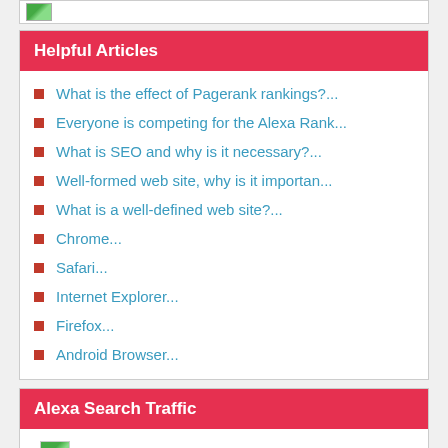[Figure (illustration): Broken image icon at top of page]
Helpful Articles
What is the effect of Pagerank rankings?...
Everyone is competing for the Alexa Rank...
What is SEO and why is it necessary?...
Well-formed web site, why is it importan...
What is a well-defined web site?...
Chrome...
Safari...
Internet Explorer...
Firefox...
Android Browser...
Alexa Search Traffic
[Figure (illustration): Broken image icon in Alexa Search Traffic section]
Country Top Sites